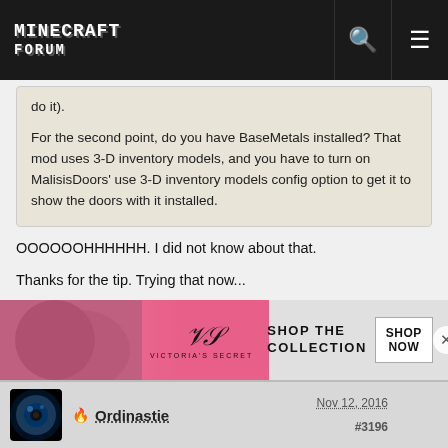MINECRAFT FORUM
do it).
For the second point, do you have BaseMetals installed? That mod uses 3-D inventory models, and you have to turn on MalisisDoors' use 3-D inventory models config option to get it to show the doors with it installed.
OOOOOOHHHHHH. I did not know about that.
Thanks for the tip. Trying that now...
YES!!! That resolves the missing door textures in inventory. Thank you for pointing that out!
Ordinastie  Nov 12, 2016  #3196